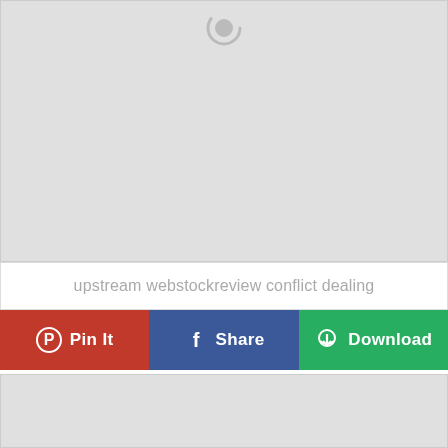[Figure (screenshot): Gray placeholder image area with a spinner/loading icon at top center]
upstream webstockreview conflict dealing
[Figure (screenshot): Row of three social sharing buttons: Pin It (red, Pinterest icon), Share (blue, Facebook icon), Download (green, cloud download icon)]
[Figure (screenshot): Gray placeholder image area at bottom of page]